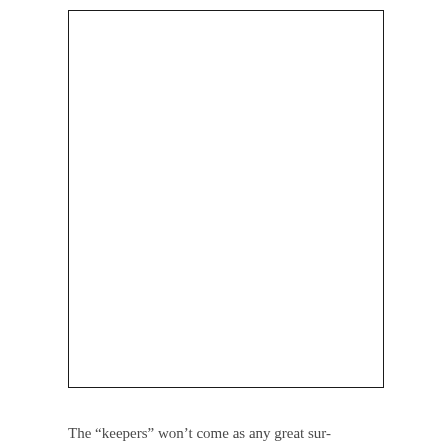[Figure (other): A large white rectangle with a thin black border, representing a blank or image placeholder area on the page.]
The “keepers” won’t come as any great sur-